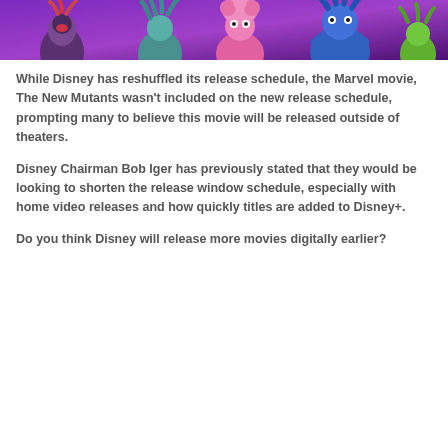[Figure (photo): Promotional image of animated Trolls characters against a purple background. Characters include colorful troll figures in the foreground.]
While Disney has reshuffled its release schedule, the Marvel movie, The New Mutants wasn't included on the new release schedule, prompting many to believe this movie will be released outside of theaters.
Disney Chairman Bob Iger has previously stated that they would be looking to shorten the release window schedule, especially with home video releases and how quickly titles are added to Disney+.
Do you think Disney will release more movies digitally earlier?